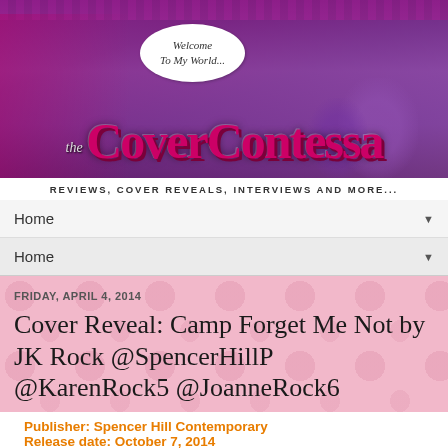[Figure (illustration): The Cover Contessa blog banner with pink/purple damask background, woman silhouette, speech bubble saying 'Welcome To My World...', large stylized gothic text reading 'the CoverContessa', subtitle 'REVIEWS, COVER REVEALS, INTERVIEWS AND MORE...']
Home ▼
Home ▼
FRIDAY, APRIL 4, 2014
Cover Reveal: Camp Forget Me Not by JK Rock @SpencerHillP @KarenRock5 @JoanneRock6
Publisher: Spencer Hill Contemporary
Release date: October 7, 2014